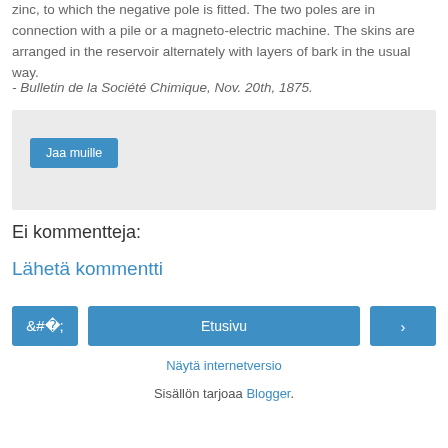zinc, to which the negative pole is fitted. The two poles are in connection with a pile or a magneto-electric machine. The skins are arranged in the reservoir alternately with layers of bark in the usual way.
- Bulletin de la Société Chimique, Nov. 20th, 1875.
[Figure (other): Share box with 'Jaa muille' button on light grey background]
Ei kommentteja:
Lähetä kommentti
[Figure (other): Navigation bar with left arrow button, Etusivu (home) center button, and right arrow button]
Näytä internetversio
Sisällön tarjoaa Blogger.